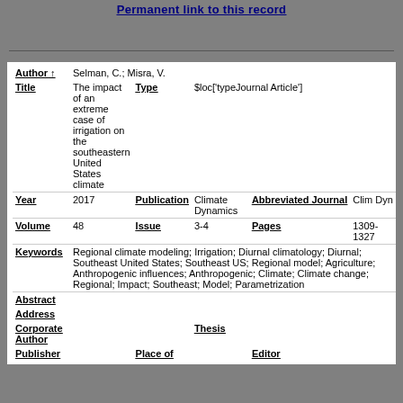Permanent link to this record
| Field | Value | Field2 | Value2 |
| --- | --- | --- | --- |
| Author ↑ | Selman, C.; Misra, V. |  |  |
| Title | The impact of an extreme case of irrigation on the southeastern United States climate | Type | $loc['typeJournal Article'] |
| Year | 2017 | Publication | Climate Dynamics | Abbreviated Journal | Clim Dyn |
| Volume | 48 | Issue | 3-4 | Pages | 1309-1327 |
| Keywords | Regional climate modeling; Irrigation; Diurnal climatology; Diurnal; Southeast United States; Southeast US; Regional model; Agriculture; Anthropogenic influences; Anthropogenic; Climate; Climate change; Regional; Impact; Southeast; Model; Parametrization |  |  |
| Abstract |  |  |  |
| Address |  |  |  |
| Corporate Author |  | Thesis |  |
| Publisher |  | Place of |  | Editor |  |